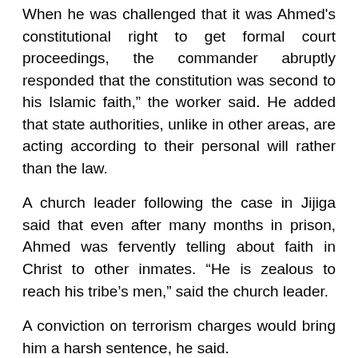When he was challenged that it was Ahmed's constitutional right to get formal court proceedings, the commander abruptly responded that the constitution was second to his Islamic faith,” the worker said. He added that state authorities, unlike in other areas, are acting according to their personal will rather than the law.
A church leader following the case in Jijiga said that even after many months in prison, Ahmed was fervently telling about faith in Christ to other inmates. “He is zealous to reach his tribe’s men,” said the church leader.
A conviction on terrorism charges would bring him a harsh sentence, he said.
“Bashir has an indefinite and uncertain future,” he said. “Pray for him.”